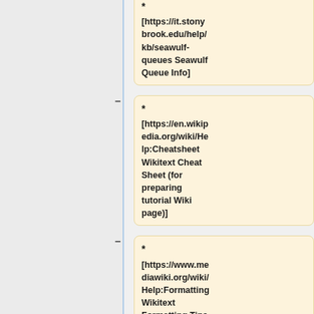* [https://it.stonybrook.edu/help/kb/seawulf-queues Seawulf Queue Info]
* [https://en.wikipedia.org/wiki/Help:Cheatsheet Wikitext Cheat Sheet (for preparing tutorial Wiki page)]
* [https://www.mediawiki.org/wiki/Help:Formatting Wikitext Formatting Tips (for making the